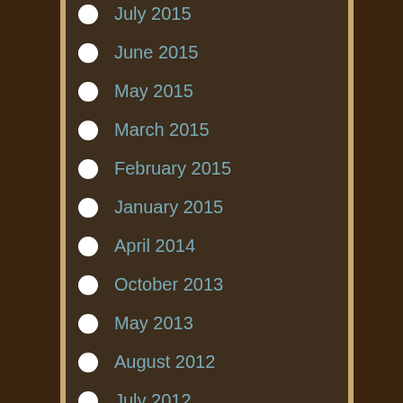July 2015
June 2015
May 2015
March 2015
February 2015
January 2015
April 2014
October 2013
May 2013
August 2012
July 2012
June 2012
May 2012
March 2012